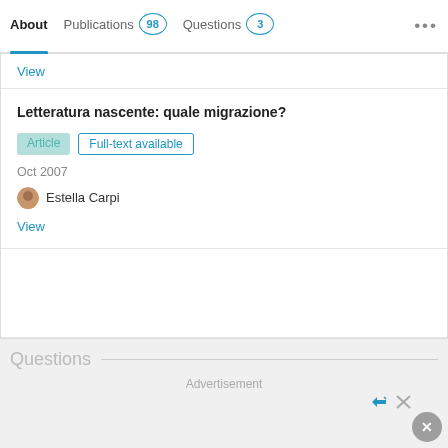About   Publications 98   Questions 3   ...
View
Letteratura nascente: quale migrazione?
Article   Full-text available
Oct 2007
Estella Carpi
View
Questions
Advertisement